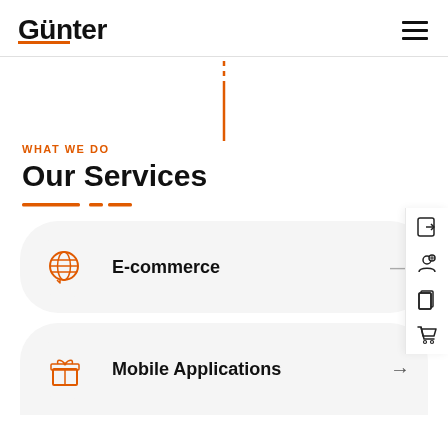Günter
[Figure (illustration): Orange vertical dashed-to-solid line decoration centered on page]
WHAT WE DO
Our Services
E-commerce
Mobile Applications